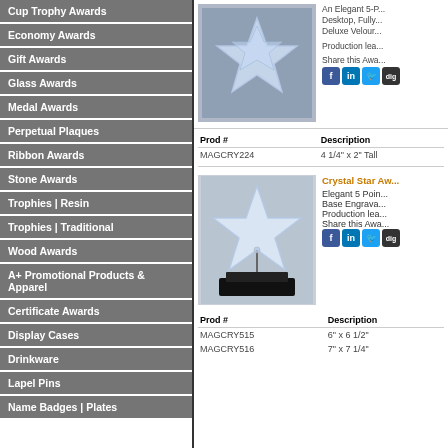Cup Trophy Awards
Economy Awards
Gift Awards
Glass Awards
Medal Awards
Perpetual Plaques
Ribbon Awards
Stone Awards
Trophies | Resin
Trophies | Traditional
Wood Awards
A+ Promotional Products & Apparel
Certificate Awards
Display Cases
Drinkware
Lapel Pins
Name Badges | Plates
[Figure (photo): Crystal star award on gray background]
An Elegant 5-P... Desktop, Fully... Deluxe Velour...
Production lea...
Share this Awa...
| Prod # | Description |
| --- | --- |
| MAGCRY224 | 4 1/4" x 2" Tall |
[Figure (photo): Crystal star award with black base]
Crystal Star Aw...
Elegant 5 Poin... Base Engrava...
Production lea...
Share this Awa...
| Prod # | Description |
| --- | --- |
| MAGCRY515 | 6" x 6 1/2" |
| MAGCRY516 | 7" x 7 1/4" |